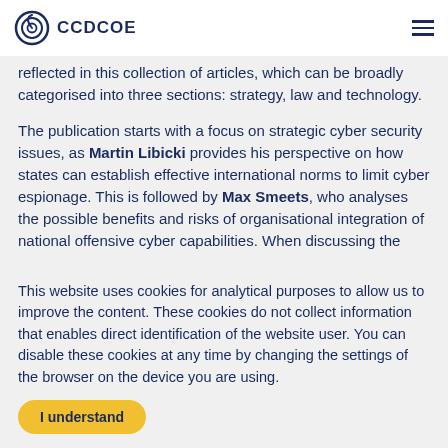CCDCOE
reflected in this collection of articles, which can be broadly categorised into three sections: strategy, law and technology.
The publication starts with a focus on strategic cyber security issues, as Martin Libicki provides his perspective on how states can establish effective international norms to limit cyber espionage. This is followed by Max Smeets, who analyses the possible benefits and risks of organisational integration of national offensive cyber capabilities. When discussing the
This website uses cookies for analytical purposes to allow us to improve the content. These cookies do not collect information that enables direct identification of the website user. You can disable these cookies at any time by changing the settings of the browser on the device you are using.
I understand